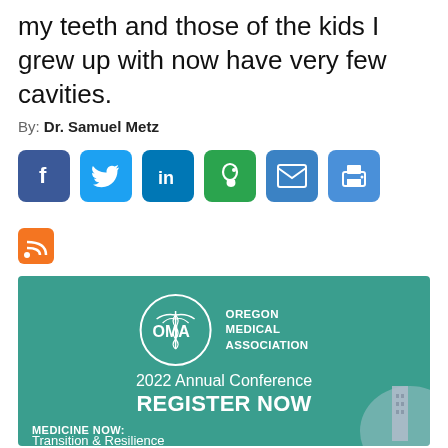my teeth and those of the kids I grew up with now have very few cavities.
By: Dr. Samuel Metz
[Figure (infographic): Social sharing icons: Facebook, Twitter, LinkedIn, Evernote, Email, Print buttons in blue/green rounded squares, plus an RSS feed icon below]
[Figure (infographic): Oregon Medical Association advertisement banner. Teal/green background. OMA logo circle with caduceus, text 'OREGON MEDICAL ASSOCIATION'. Large text: '2022 Annual Conference' and 'REGISTER NOW'. Bottom text: 'MEDICINE NOW: Transition & Resilience' with a building photo.]